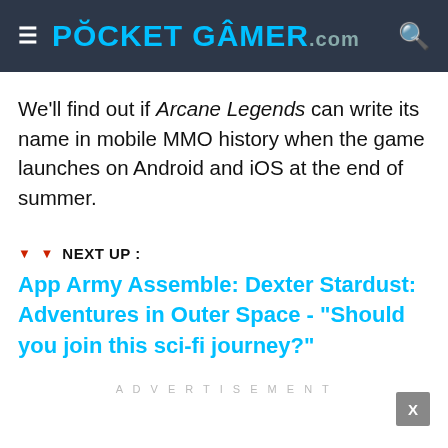POCKET GAMER.com
We'll find out if Arcane Legends can write its name in mobile MMO history when the game launches on Android and iOS at the end of summer.
▼ ▼  NEXT UP :
App Army Assemble: Dexter Stardust: Adventures in Outer Space - "Should you join this sci-fi journey?"
ADVERTISEMENT